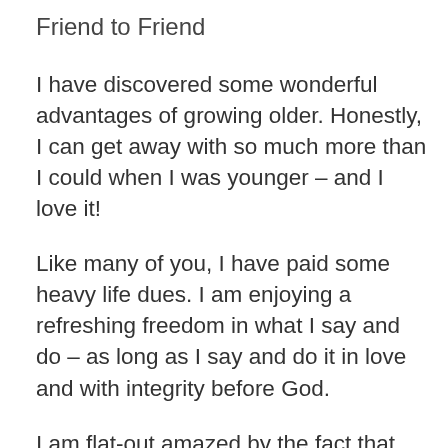Friend to Friend
I have discovered some wonderful advantages of growing older. Honestly, I can get away with so much more than I could when I was younger – and I love it!
Like many of you, I have paid some heavy life dues. I am enjoying a refreshing freedom in what I say and do – as long as I say and do it in love and with integrity before God.
I am flat-out amazed by the fact that people value my advice. They actually think I know what I am doing. Hilarious! I know!